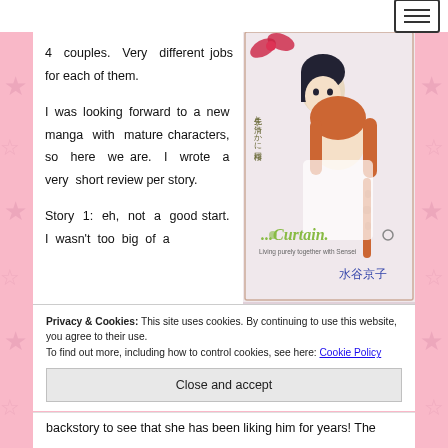4 couples. Very different jobs for each of them.
I was looking forward to a new manga with mature characters, so here we are. I wrote a very short review per story.
Story 1: eh, not a good start. I wasn't too big of a
[Figure (illustration): Manga book cover showing two anime-style characters (a dark-haired male and auburn-haired female) with Japanese text and '...Curtain. Living purely together with Sensei' subtitle and author name 水谷京子]
Privacy & Cookies: This site uses cookies. By continuing to use this website, you agree to their use.
To find out more, including how to control cookies, see here: Cookie Policy
Close and accept
backstory to see that she has been liking him for years! The